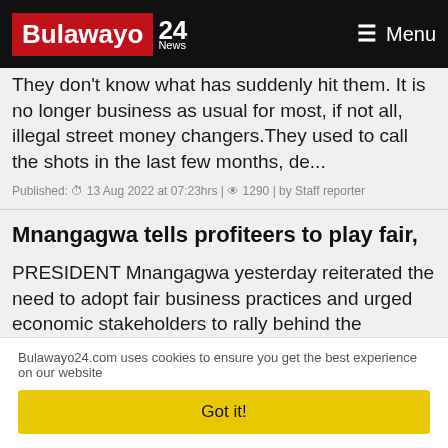Bulawayo 24 News | Menu
They don't know what has suddenly hit them. It is no longer business as usual for most, if not all, illegal street money changers. They used to call the shots in the last few months, de...
Published: 13 Aug 2022 at 07:23hrs | 1290 | by Staff reporter
Mnangagwa tells profiteers to play fair,
PRESIDENT Mnangagwa yesterday reiterated the need to adopt fair business practices and urged economic stakeholders to rally behind the country's transformation agenda and leave a legacy of positive im...
Published: 13 Aug 2022 at 07:23hrs | 120 | by Staff reporter
Bulawayo24.com uses cookies to ensure you get the best experience on our website
Got it!